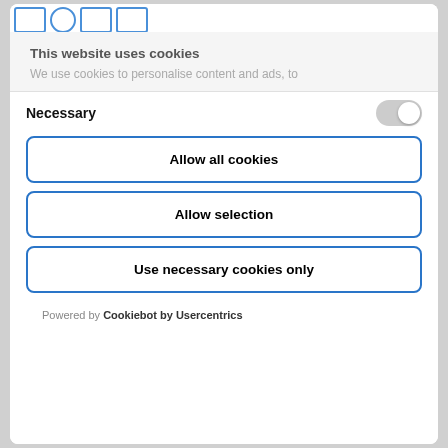[Figure (screenshot): Top navigation bar with icon buttons (tab icons in blue outline style)]
This website uses cookies
We use cookies to personalise content and ads, to
Necessary
Allow all cookies
Allow selection
Use necessary cookies only
Powered by Cookiebot by Usercentrics